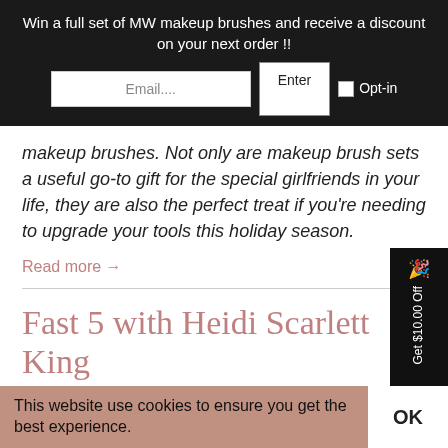Win a full set of MW makeup brushes and receive a discount on your next order !!
makeup brushes. Not only are makeup brush sets a useful go-to gift for the special girlfriends in your life, they are also the perfect treat if you're needing to upgrade your tools this holiday season.
Read more →
Fast 5 with Heidi Scarlett King
August 29, 2016 · beauty blog · fast 5 · makeup weapons blog
This website use cookies to ensure you get the best experience.